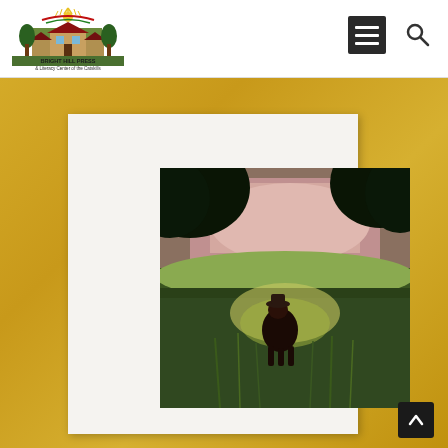Bright Hill Press & Literacy Center of the Catskills
[Figure (logo): Bright Hill Press & Literacy Center of the Catskills logo with illustration of buildings and trees]
[Figure (photo): A dog sitting in a green field with tall grass, viewed from under dark tree canopy, with pink sunset sky in background, presented in a white mat on gold textured background]